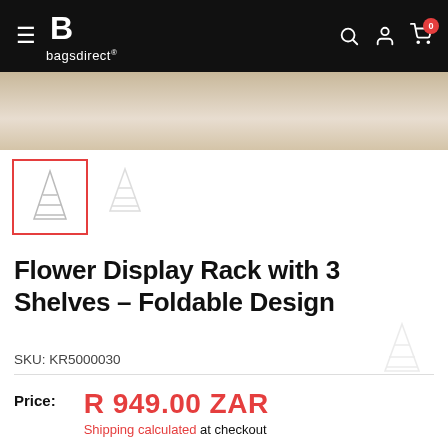bagsdirect® — navigation bar with hamburger menu, logo, search, account, and cart (badge: 0)
[Figure (photo): Product photo strip showing flower display rack on wooden surface, partially visible at top]
[Figure (photo): Three product thumbnails: first selected with red border, second faded outline version, third faded on right side]
Flower Display Rack with 3 Shelves - Foldable Design
SKU: KR5000030
Price: R 949.00 ZAR
Shipping calculated at checkout